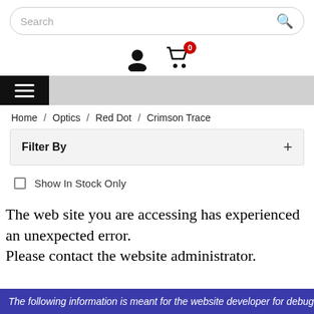[Figure (screenshot): Search bar with placeholder text and search icon]
[Figure (other): User account icon and shopping cart icon with red badge showing 0]
[Figure (other): Navigation bar with hamburger menu button on black background and gray bar extending right]
Home / Optics / Red Dot / Crimson Trace
Filter By +
Show In Stock Only
The web site you are accessing has experienced an unexpected error.
Please contact the website administrator.
The following information is meant for the website developer for debugging